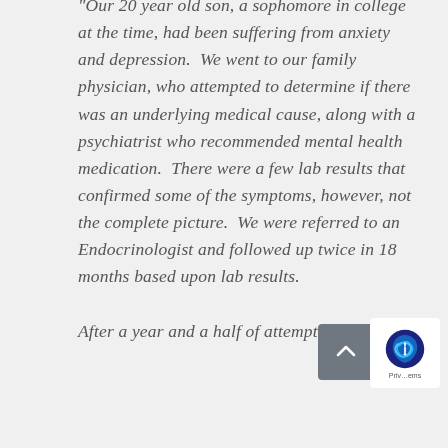Our 20 year old son, a sophomore in college at the time, had been suffering from anxiety and depression. We went to our family physician, who attempted to determine if there was an underlying medical cause, along with a psychiatrist who recommended mental health medication. There were a few lab results that confirmed some of the symptoms, however, not the complete picture. We were referred to an Endocrinologist and followed up twice in 18 months based upon lab results. After a year and a half of attempting to